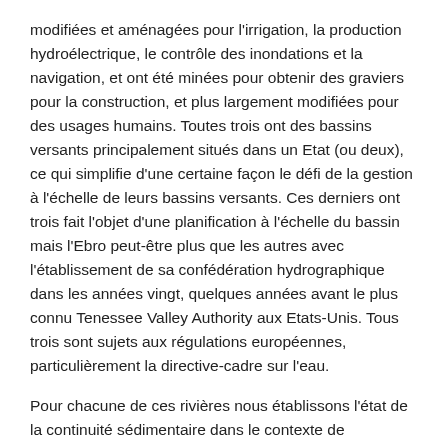modifiées et aménagées pour l'irrigation, la production hydroélectrique, le contrôle des inondations et la navigation, et ont été minées pour obtenir des graviers pour la construction, et plus largement modifiées pour des usages humains. Toutes trois ont des bassins versants principalement situés dans un Etat (ou deux), ce qui simplifie d'une certaine façon le défi de la gestion à l'échelle de leurs bassins versants. Ces derniers ont trois fait l'objet d'une planification à l'échelle du bassin mais l'Ebro peut-être plus que les autres avec l'établissement de sa confédération hydrographique dans les années vingt, quelques années avant le plus connu Tenessee Valley Authority aux Etats-Unis. Tous trois sont sujets aux régulations européennes, particulièrement la directive-cadre sur l'eau.
Pour chacune de ces rivières nous établissons l'état de la continuité sédimentaire dans le contexte de processus physiques et écologiques à l'échelle du bassin, l'histoire environnementale et le cadre institutionnel. Nous cherchons à comprendre mieux, à l'échelle d'un bassin, comment et pourquoi la continuité sédimentaire a changé au cours des deux derniers siècles, si et comment ces changements ont été compris et gérés, et si il y a eu une réflexion (et une gestion) au l'échelle du bassin.